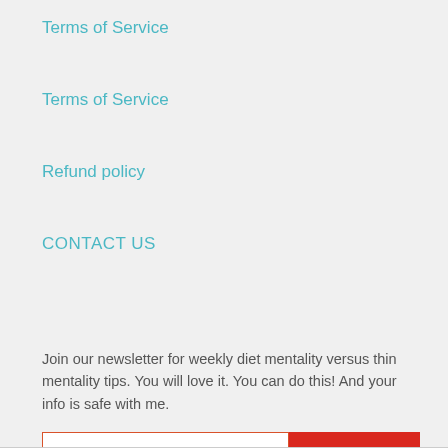Terms of Service
Terms of Service
Refund policy
CONTACT US
Join our newsletter for weekly diet mentality versus thin mentality tips. You will love it. You can do this! And your info is safe with me.